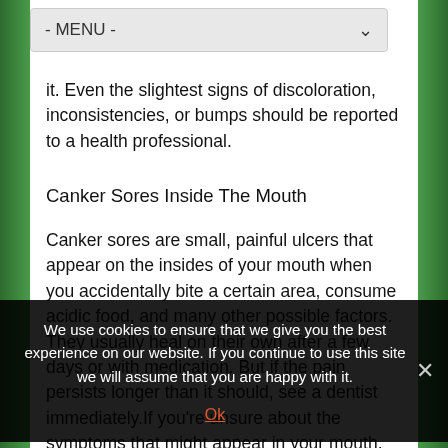- MENU -
it. Even the slightest signs of discoloration, inconsistencies, or bumps should be reported to a health professional.
Canker Sores Inside The Mouth
Canker sores are small, painful ulcers that appear on the insides of your mouth when you accidentally bite a certain area, consume acidic food, and many other possible factors. They usually heal on their own after a few days or with medication. But if the pain persists longer than it should, see a dentist immediately.If you're unsure about the symptoms that might appear in your mouth, gums, or
We use cookies to ensure that we give you the best experience on our website. If you continue to use this site we will assume that you are happy with it.
Ok